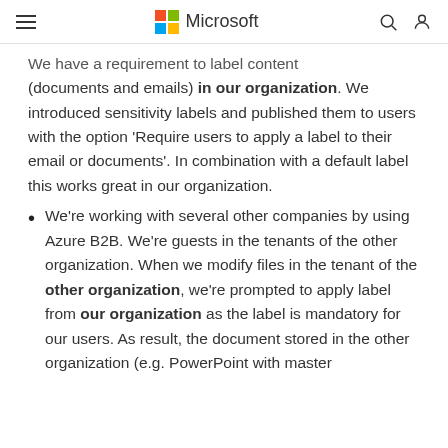Microsoft
We have a requirement to label content (documents and emails) in our organization. We introduced sensitivity labels and published them to users with the option 'Require users to apply a label to their email or documents'. In combination with a default label this works great in our organization.
We're working with several other companies by using Azure B2B. We're guests in the tenants of the other organization. When we modify files in the tenant of the other organization, we're prompted to apply label from our organization as the label is mandatory for our users. As result, the document stored in the other organization (e.g. PowerPoint with master